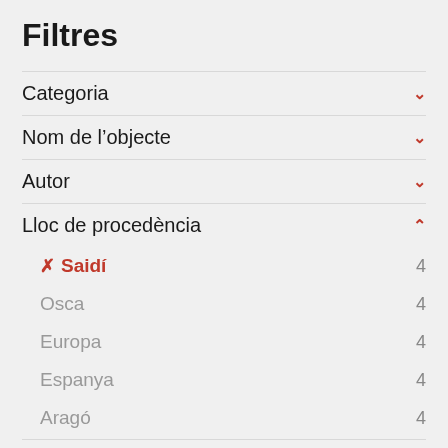Filtres
Categoria
Nom de l'objecte
Autor
Lloc de procedència
✗ Saidí 4
Osca 4
Europa 4
Espanya 4
Aragó 4
Tema
Etapes i Fets Històrics 14